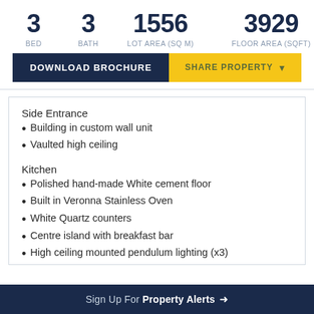| BED | BATH | LOT AREA (SQ M) | FLOOR AREA (SQFT) |
| --- | --- | --- | --- |
| 3 | 3 | 1556 | 3929 |
DOWNLOAD BROCHURE | SHARE PROPERTY
Side Entrance
Building in custom wall unit
Vaulted high ceiling
Kitchen
Polished hand-made White cement floor
Built in Veronna Stainless Oven
White Quartz counters
Centre island with breakfast bar
High ceiling mounted pendulum lighting (x3)
Double stainless-steel under-mount sink
Wall-to-wall and ceiling to counter window overlooking
Sign Up For Property Alerts →